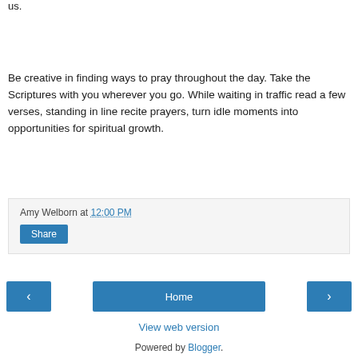us.
Be creative in finding ways to pray throughout the day. Take the Scriptures with you wherever you go. While waiting in traffic read a few verses, standing in line recite prayers, turn idle moments into opportunities for spiritual growth.
Amy Welborn at 12:00 PM
Share
‹
Home
›
View web version
Powered by Blogger.